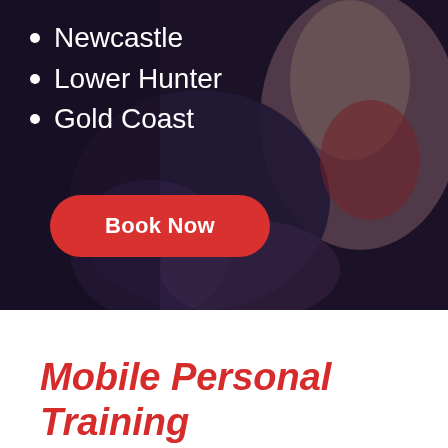[Figure (photo): Background photo of people exercising/doing fitness training, dark overlay applied, showing legs and torso of individuals working out]
Newcastle
Lower Hunter
Gold Coast
Book Now
Mobile Personal Training